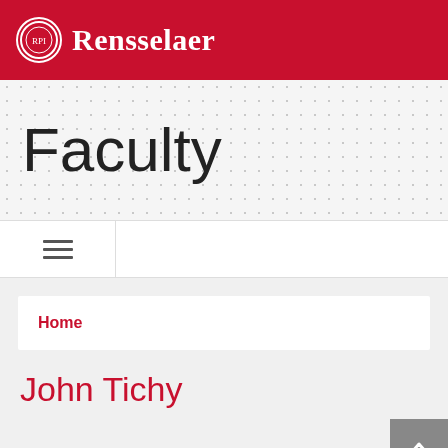Rensselaer
Faculty
Home
John Tichy